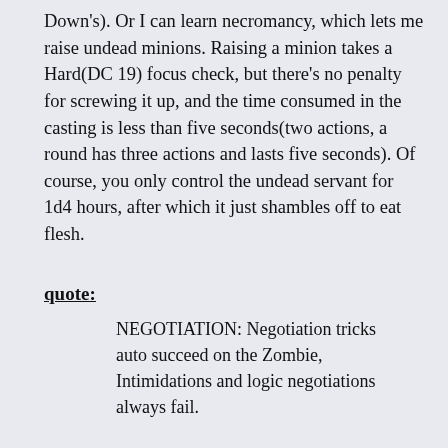Down's). Or I can learn necromancy, which lets me raise undead minions. Raising a minion takes a Hard(DC 19) focus check, but there's no penalty for screwing it up, and the time consumed in the casting is less than five seconds(two actions, a round has three actions and lasts five seconds). Of course, you only control the undead servant for 1d4 hours, after which it just shambles off to eat flesh.
quote:
NEGOTIATION: Negotiation tricks auto succeed on the Zombie, Intimidations and logic negotiations always fail.
It'd be great, though, if you had an undead minion without that problem, and one that couldn't be tricked. Skeletons have the same "tries to kill everything after a few hours"-issue, plus they take a whole round to summon. Time is money, can't just waste it on something as frivolous as bony guardians. That's why you use your 1 ability point to learn how to summon ghosts instead. Ghosts never break free of